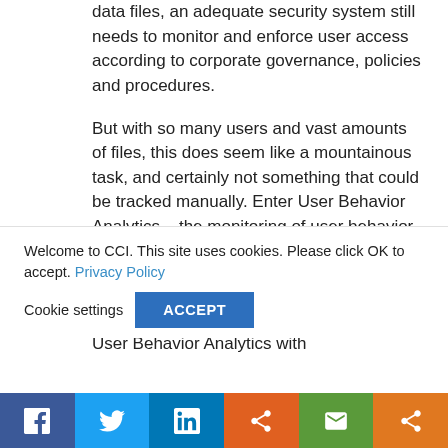data files, an adequate security system still needs to monitor and enforce user access according to corporate governance, policies and procedures.
But with so many users and vast amounts of files, this does seem like a mountainous task, and certainly not something that could be tracked manually. Enter User Behavior Analytics – the monitoring of user behavior by algorithmic methodologies or, as it's more commonly known, Artificial Intelligence (AI).
User Behavior Analytics with...
Welcome to CCI. This site uses cookies. Please click OK to accept. Privacy Policy
Cookie settings  ACCEPT